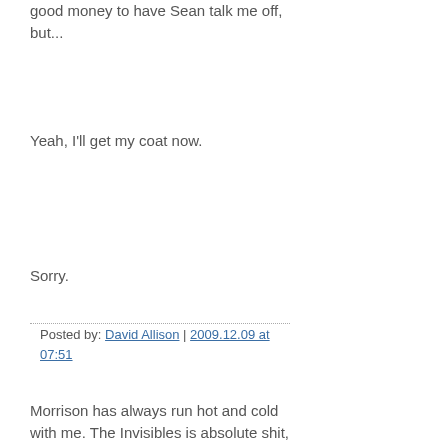good money to have Sean talk me off, but...
Yeah, I'll get my coat now.
Sorry.
Posted by: David Allison | 2009.12.09 at 07:51
Morrison has always run hot and cold with me. The Invisibles is absolute shit, and Kill Your Boyfriend is possibly the single worst comic book I've ever read in my life. But Seaguy is wonderful, and The